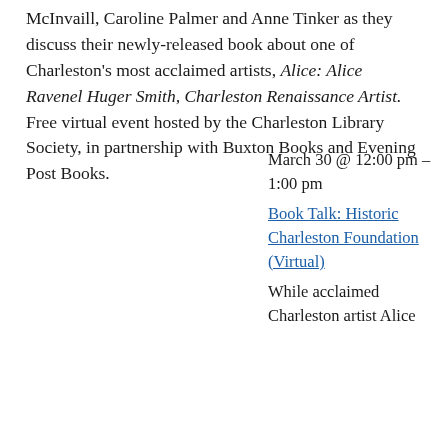McInvaill, Caroline Palmer and Anne Tinker as they discuss their newly-released book about one of Charleston's most acclaimed artists, Alice: Alice Ravenel Huger Smith, Charleston Renaissance Artist. Free virtual event hosted by the Charleston Library Society, in partnership with Buxton Books and Evening Post Books.
March 30 @ 12:00 pm – 1:00 pm
Book Talk: Historic Charleston Foundation (Virtual)
While acclaimed Charleston artist Alice